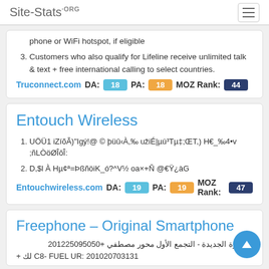Site-Stats.ORG
phone or WiFi hotspot, if eligible
Customers who also qualify for Lifeline receive unlimited talk & text + free international calling to select countries.
Truconnect.com  DA: 18  PA: 18  MOZ Rank: 44
Entouch Wireless
UÖÜ1 iZíõÃ)"Igý!@ © þüû‹À,‰ užiÉ|µú³Tµ‡;ŒT,) H€_‰4•v ;ñLÒöØÎôÎ:
D,$l À Hµ¢ª=ÞßñöiK_ó?^V½ oa×+Ñ @€Ÿ¿àG
Entouchwireless.com  DA: 19  PA: 19  MOZ Rank: 47
Freephone – Original Smartphone
+201225095050 مصطفي محور الأول التجمع - الجديدة القاهرة
+ لك C8- FUEL UR: 201020703131